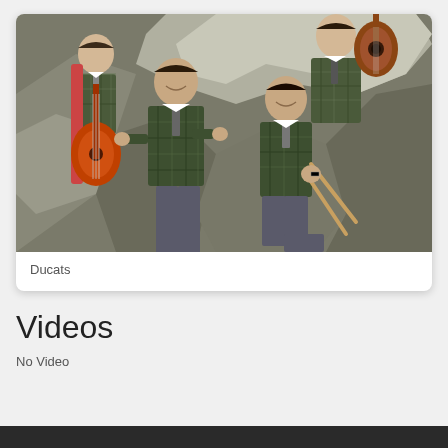[Figure (photo): Vintage photo of a band called Ducats — several young men in matching plaid/tartan blazers, some holding guitars and drumsticks, posed among rocks]
Ducats
Videos
No Video